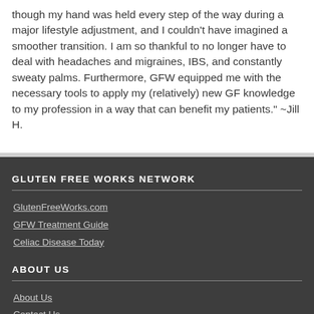though my hand was held every step of the way during a major lifestyle adjustment, and I couldn't have imagined a smoother transition. I am so thankful to no longer have to deal with headaches and migraines, IBS, and constantly sweaty palms. Furthermore, GFW equipped me with the necessary tools to apply my (relatively) new GF knowledge to my profession in a way that can benefit my patients." ~Jill H.
GLUTEN FREE WORKS NETWORK
GlutenFreeWorks.com
GFW Treatment Guide
Celiac Disease Today
ABOUT US
About Us
Contact Us
Terms of Service
Disclaimer